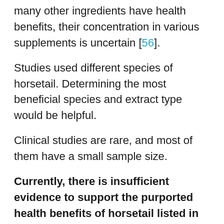many other ingredients have health benefits, their concentration in various supplements is uncertain [56].
Studies used different species of horsetail. Determining the most beneficial species and extract type would be helpful.
Clinical studies are rare, and most of them have a small sample size.
Currently, there is insufficient evidence to support the purported health benefits of horsetail listed in this article.
Proper, large-scale, double-blinded, randomized clinical trials need to be carried out to determine the effectiveness and safety of various horsetail